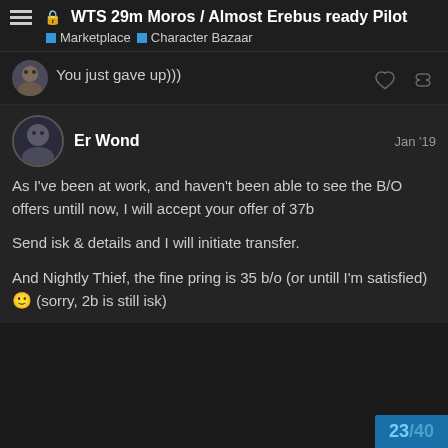WTS 29m Moros / Almost Erebus ready Pilot — Marketplace > Character Bazaar
You just gave up)))
Er Wond — Jan '19
As I've been at work, and haven't been able to see the B/O offers untill now, I will accept your offer of 37b

Send isk & details and I will initiate transfer.

And Nightly Thief, the fine pring is 35 b/o (or untill I'm satisfied) 🙂 (sorry, 2b is still isk)
23 / 40